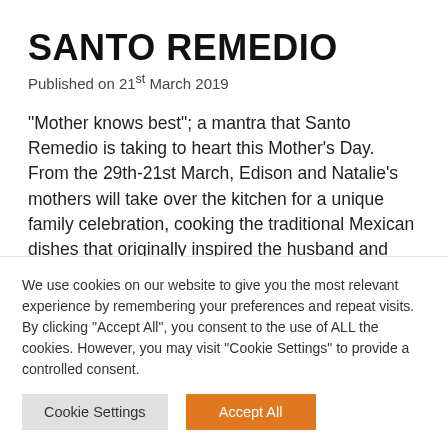SANTO REMEDIO
Published on 21st March 2019
“Mother knows best”; a mantra that Santo Remedio is taking to heart this Mother’s Day.  From the 29th-21st March, Edison and Natalie’s mothers will take over the kitchen for a unique family celebration, cooking the traditional Mexican dishes that originally inspired the husband and wife team. Edson’s mother, Luz Maria Moraover will be flying in especially from Mexico City to recreate special
We use cookies on our website to give you the most relevant experience by remembering your preferences and repeat visits. By clicking “Accept All”, you consent to the use of ALL the cookies. However, you may visit “Cookie Settings” to provide a controlled consent.